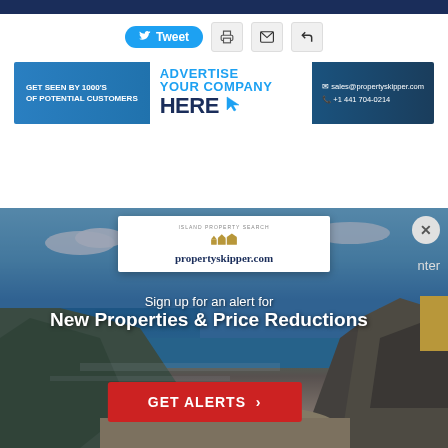[Figure (other): Dark navy blue top bar stripe]
[Figure (other): Social sharing buttons row: Tweet button (blue, Twitter bird icon), printer icon, email icon, reply/back icon]
[Figure (other): Advertisement banner: 'GET SEEN BY 1000's OF POTENTIAL CUSTOMERS | ADVERTISE YOUR COMPANY HERE (with cursor icon) | sales@propertyskipper.com | +1 441 704-0214']
[Figure (other): Coastal landscape photo with propertyskipper.com popup overlay. Text: 'Sign up for an alert for New Properties & Price Reductions' with red GET ALERTS button. Close X button visible top right.]